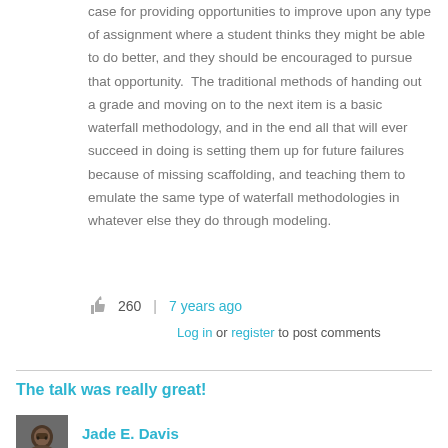case for providing opportunities to improve upon any type of assignment where a student thinks they might be able to do better, and they should be encouraged to pursue that opportunity.  The traditional methods of handing out a grade and moving on to the next item is a basic waterfall methodology, and in the end all that will ever succeed in doing is setting them up for future failures because of missing scaffolding, and teaching them to emulate the same type of waterfall methodologies in whatever else they do through modeling.
260 | 7 years ago
Log in or register to post comments
The talk was really great!
Jade E. Davis